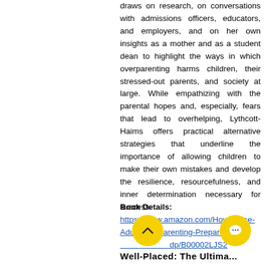draws on research, on conversations with admissions officers, educators, and employers, and on her own insights as a mother and as a student dean to highlight the ways in which overparenting harms children, their stressed-out parents, and society at large. While empathizing with the parental hopes and, especially, fears that lead to overhelping, Lythcott-Haims offers practical alternative strategies that underline the importance of allowing children to make their own mistakes and develop the resilience, resourcefulness, and inner determination necessary for success.
Book Details: https://www.amazon.com/How-Raise-Adult-Overparenting-Prepare-dp/B00002LJS2
Well-Placed: The Ultima...